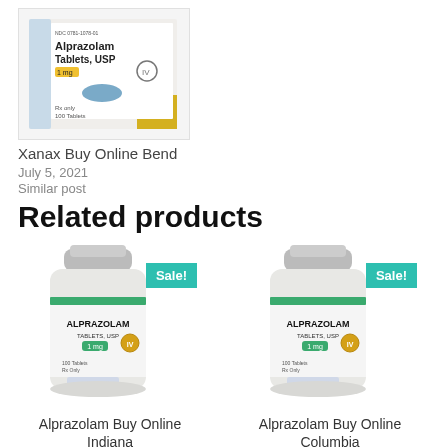[Figure (photo): Photo of Alprazolam Tablets USP 1mg box with a blue oval tablet visible]
Xanax Buy Online Bend
July 5, 2021
Similar post
Related products
[Figure (photo): Bottle of Alprazolam Tablets USP 1mg with Sale! badge in teal]
Alprazolam Buy Online Indiana
[Figure (photo): Bottle of Alprazolam Tablets USP 1mg with Sale! badge in teal]
Alprazolam Buy Online Columbia